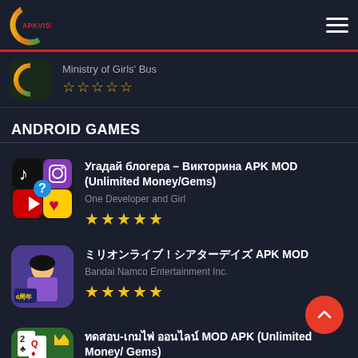APKVISIT
Ministry of Girls' Bus ☆☆☆☆☆
ANDROID GAMES
Угадай блогера – Викторина APK MOD (Unlimited Money/Gems)
One Developer and Girl
★★★★★
□□□□□□□□ □□□□□□□□□ □□□□□□□□□□□□ APK MOD
Bandai Namco Entertainment Inc.
★★★★★
□□□□□□□□□□-□□□□□□□ □□□□□□□□□ MOD APK (Unlimited Money/ Gems)
Pok91